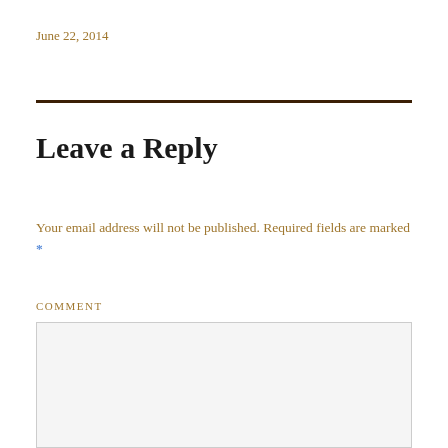June 22, 2014
Leave a Reply
Your email address will not be published. Required fields are marked *
COMMENT